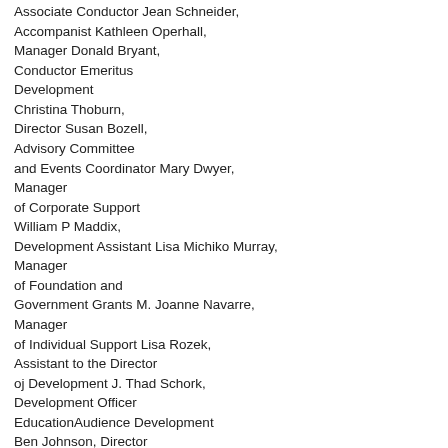Associate Conductor Jean Schneider, Accompanist Kathleen Operhall, Manager Donald Bryant, Conductor Emeritus Development Christina Thoburn, Director Susan Bozell, Advisory Committee and Events Coordinator Mary Dwyer, Manager of Corporate Support William P Maddix, Development Assistant Lisa Michiko Murray, Manager of Foundation and Government Grants M. Joanne Navarre, Manager of Individual Support Lisa Rozek, Assistant to the Director oj Development J. Thad Schork, Development Officer EducationAudience Development Ben Johnson, Director Kristin Fontichiaro,